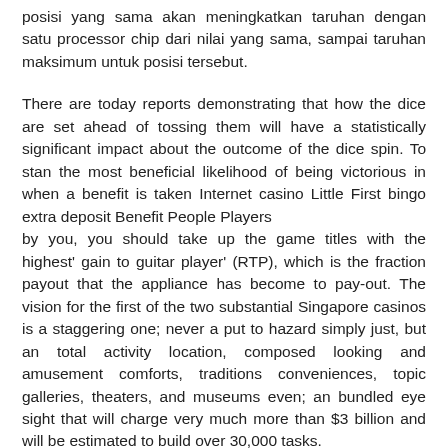posisi yang sama akan meningkatkan taruhan dengan satu processor chip dari nilai yang sama, sampai taruhan maksimum untuk posisi tersebut.
There are today reports demonstrating that how the dice are set ahead of tossing them will have a statistically significant impact about the outcome of the dice spin. To stan the most beneficial likelihood of being victorious in when a benefit is taken Internet casino Little First bingo extra deposit Benefit People Players
by you, you should take up the game titles with the highest' gain to guitar player' (RTP), which is the fraction payout that the appliance has become to pay-out. The vision for the first of the two substantial Singapore casinos is a staggering one; never a put to hazard simply just, but an total activity location, composed looking and amusement comforts, traditions conveniences, topic galleries, theaters, and museums even; an bundled eye sight that will charge very much more than $3 billion and will be estimated to build over 30,000 tasks.